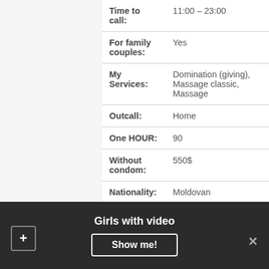| Field | Value |
| --- | --- |
| Time to call: | 11:00 – 23:00 |
| For family couples: | Yes |
| My Services: | Domination (giving), Massage classic, Massage |
| Outcall: | Home |
| One HOUR: | 90 |
| Without condom: | 550$ |
| Nationality: | Moldovan |
See phone number
Girls with video
Show me!